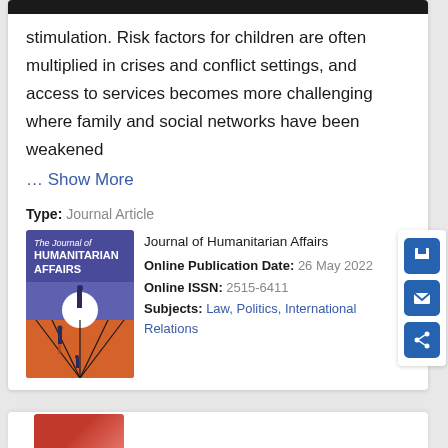stimulation. Risk factors for children are often multiplied in crises and conflict settings, and access to services becomes more challenging where family and social networks have been weakened
… Show More
Type: Journal Article
[Figure (illustration): Cover of The Journal of Humanitarian Affairs — purple header with journal title in white, orange lower section with silhouettes of figures and converging perspective lines]
Journal of Humanitarian Affairs
Online Publication Date: 26 May 2022
Online ISSN: 2515-6411
Subjects: Law, Politics, International Relations